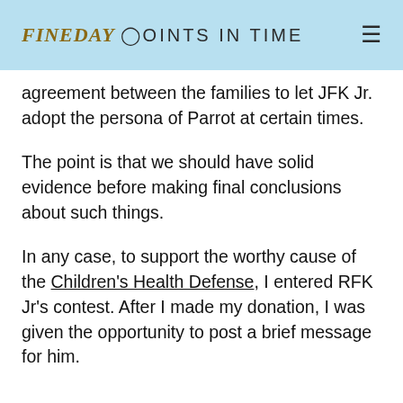FineDay Points in Time
agreement between the families to let JFK Jr. adopt the persona of Parrot at certain times.
The point is that we should have solid evidence before making final conclusions about such things.
In any case, to support the worthy cause of the Children's Health Defense, I entered RFK Jr's contest. After I made my donation, I was given the opportunity to post a brief message for him.